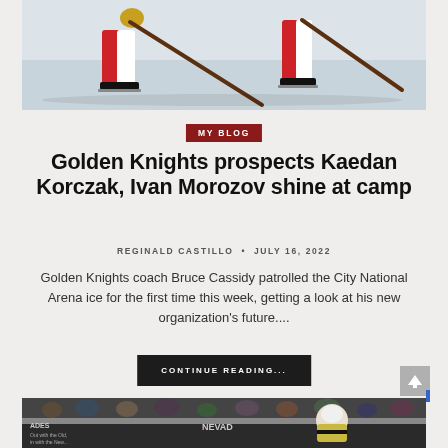[Figure (photo): Hockey players on ice, close-up of skates and sticks during a game or practice]
MY BLOG
Golden Knights prospects Kaedan Korczak, Ivan Morozov shine at camp
REGINALD CASTILLO • JULY 16, 2022
Golden Knights coach Bruce Cassidy patrolled the City National Arena ice for the first time this week, getting a look at his new organization's future....
CONTINUE READING...
[Figure (photo): Hockey player in Golden Knights uniform skating on ice with crowd in background]